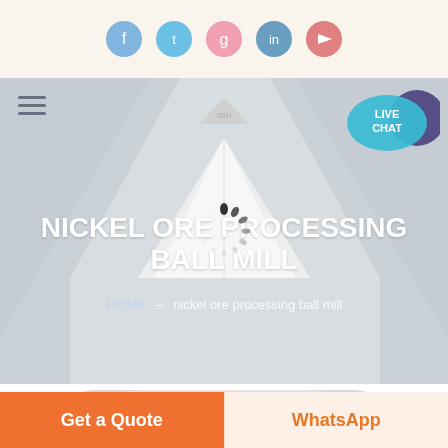[Figure (screenshot): Social media icon bar with Facebook, Twitter, Google+, LinkedIn, and YouTube circular icons on a cream background]
[Figure (screenshot): Hero banner with gray mountain/cone graphic, hamburger menu, company logo, live chat bubble, large white title text NICKEL ORE PROCESSING BALL MILL, breadcrumb navigation HOME > nickel ore processing ball mill, and a loading spinner overlay]
NICKEL ORE PROCESSING BALL MILL
HOME – nickel ore processing ball mill
[Figure (photo): Partial view of product/machinery at the bottom of the page]
Get a Quote
WhatsApp